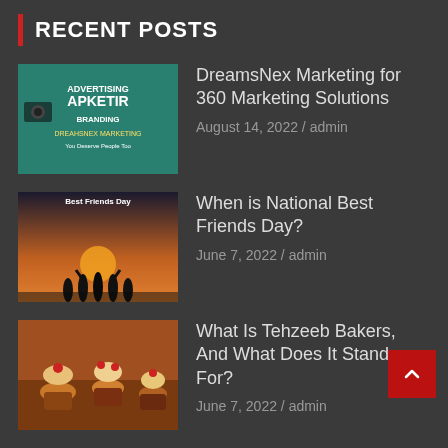RECENT POSTS
DreamsNex Marketing for 360 Marketing Solutions — August 14, 2022 / admin
When is National Best Friends Day? — June 7, 2022 / admin
What Is Tehzeeb Bakers, And What Does It Stand For? — June 7, 2022 / admin
CATEGORIES
International Events
National Events
Local Events